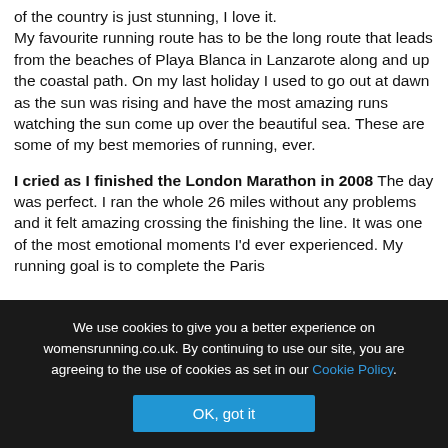of the country is just stunning, I love it. My favourite running route has to be the long route that leads from the beaches of Playa Blanca in Lanzarote along and up the coastal path. On my last holiday I used to go out at dawn as the sun was rising and have the most amazing runs watching the sun come up over the beautiful sea. These are some of my best memories of running, ever.
I cried as I finished the London Marathon in 2008 The day was perfect. I ran the whole 26 miles without any problems and it felt amazing crossing the finishing the line. It was one of the most emotional moments I'd ever experienced. My running goal is to complete the Paris
We use cookies to give you a better experience on womensrunning.co.uk. By continuing to use our site, you are agreeing to the use of cookies as set in our Cookie Policy.
OK, got it